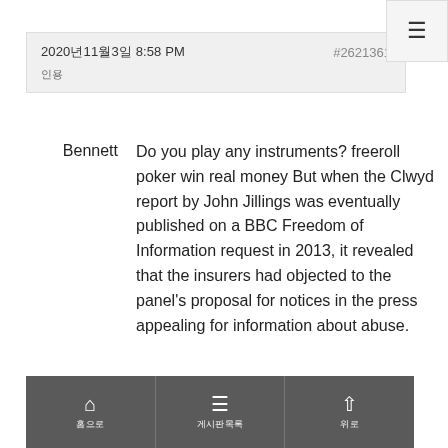2020년11월3일 8:58 PM  #2621361
인용
Bennett
Do you play any instruments? freeroll poker win real money But when the Clwyd report by John Jillings was eventually published on a BBC Freedom of Information request in 2013, it revealed that the insurers had objected to the panel's proposal for notices in the press appealing for information about abuse.
홈으로 | 게시판목록 | 위로